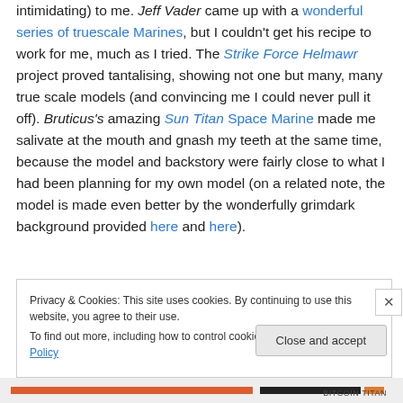intimidating) to me. Jeff Vader came up with a wonderful series of truescale Marines, but I couldn't get his recipe to work for me, much as I tried. The Strike Force Helmawr project proved tantalising, showing not one but many, many true scale models (and convincing me I could never pull it off). Bruticus's amazing Sun Titan Space Marine made me salivate at the mouth and gnash my teeth at the same time, because the model and backstory were fairly close to what I had been planning for my own model (on a related note, the model is made even better by the wonderfully grimdark background provided here and here).
Privacy & Cookies: This site uses cookies. By continuing to use this website, you agree to their use. To find out more, including how to control cookies, see here: Cookie Policy
Close and accept